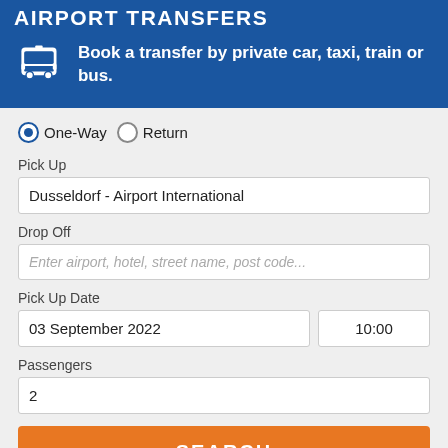AIRPORT TRANSFERS
Book a transfer by private car, taxi, train or bus.
[Figure (infographic): Bus/transport icon in white on blue background]
One-Way  Return
Pick Up
Dusseldorf - Airport International
Drop Off
Enter airport, hotel, street name, post code...
Pick Up Date
03 September 2022
10:00
Passengers
2
SEARCH